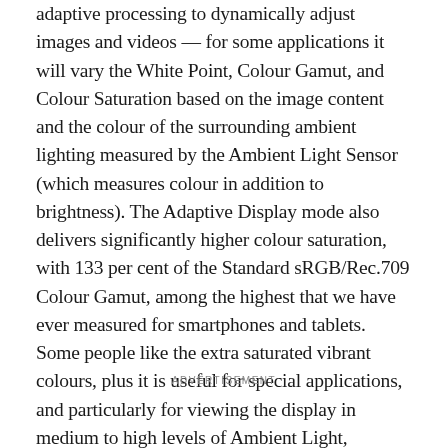adaptive processing to dynamically adjust images and videos — for some applications it will vary the White Point, Colour Gamut, and Colour Saturation based on the image content and the colour of the surrounding ambient lighting measured by the Ambient Light Sensor (which measures colour in addition to brightness). The Adaptive Display mode also delivers significantly higher colour saturation, with 133 per cent of the Standard sRGB/Rec.709 Colour Gamut, among the highest that we have ever measured for smartphones and tablets. Some people like the extra saturated vibrant colours, plus it is useful for special applications, and particularly for viewing the display in medium to high levels of Ambient Light, because it offsets some of the reflected light glare that washes out the on-screen image colours.
ADVERTISEMENT